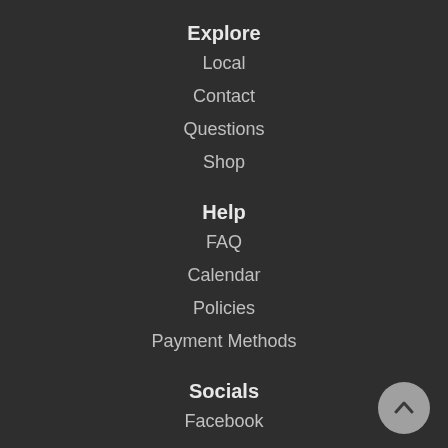Explore
Local
Contact
Questions
Shop
Help
FAQ
Calendar
Policies
Payment Methods
Socials
Facebook
[Figure (illustration): Back to top button: circular grey button with upward chevron arrow icon, positioned at bottom right]